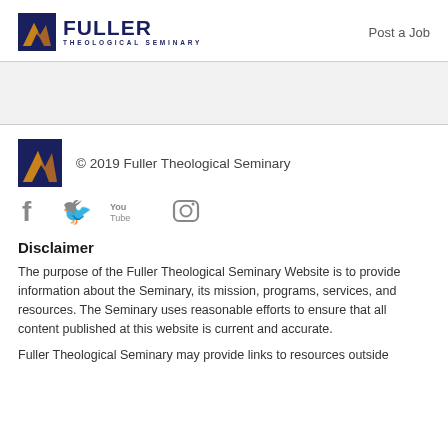[Figure (logo): Fuller Theological Seminary logo with icon and text]
Post a Job
[Figure (logo): Fuller Theological Seminary small icon logo]
© 2019 Fuller Theological Seminary
[Figure (illustration): Social media icons: Facebook, Twitter, YouTube, Instagram]
Disclaimer
The purpose of the Fuller Theological Seminary Website is to provide information about the Seminary, its mission, programs, services, and resources. The Seminary uses reasonable efforts to ensure that all content published at this website is current and accurate.
Fuller Theological Seminary may provide links to resources outside